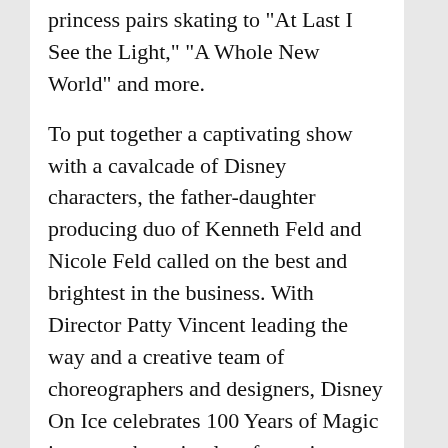princess pairs skating to “At Last I See the Light,” “A Whole New World” and more.
To put together a captivating show with a cavalcade of Disney characters, the father-daughter producing duo of Kenneth Feld and Nicole Feld called on the best and brightest in the business. With Director Patty Vincent leading the way and a creative team of choreographers and designers, Disney On Ice celebrates 100 Years of Magic is sure to be a timeless favourite among all Disney fans.
“This is a show, more than any other, which is truly for everybody,” said Producer Kenneth Feld. “When I sit with the audience, I see those that are more here to just be experiencing it and t